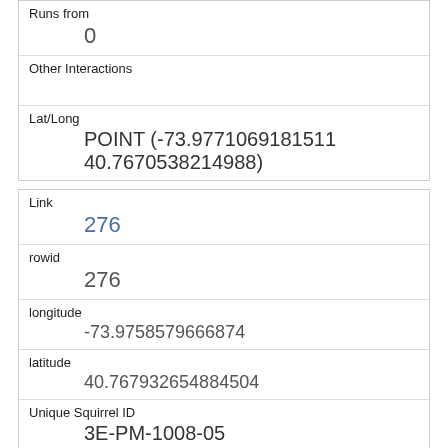| Runs from | 0 |
| Other Interactions |  |
| Lat/Long | POINT (-73.9771069181511 40.7670538214988) |
| Link | 276 |
| rowid | 276 |
| longitude | -73.9758579666874 |
| latitude | 40.767932654884504 |
| Unique Squirrel ID | 3E-PM-1008-05 |
| Hectare | 03E |
| Shift | PM |